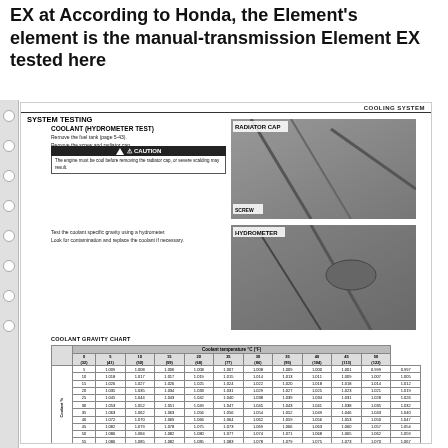EX at According to Honda, the Element's element is the manual-transmission Element EX tested here
COOLING SYSTEM
SYSTEM TESTING
COOLANT (HYDROMETER TEST)
Remove the fuel tank (page 5-43). Remove the screw and radiator cap.
CAUTION: The engine must be cool before removing the radiator cap, or severe scalding may result.
[Figure (photo): Photo of motorcycle radiator cap area with RADIATOR CAP and SCREW labels]
Test the coolant specific gravity using a hydrometer. Look for contamination and replace the coolant if necessary.
[Figure (photo): Photo of person using hydrometer on motorcycle coolant system, labeled HYDROMETER]
COOLANT GRAVITY CHART
|  | Coolant temperature °C (°F) |  |  |  |  |  |  |  |  |  |
| --- | --- | --- | --- | --- | --- | --- | --- | --- | --- | --- |
|  | 0 (32) | 5 (41) | 10 (50) | 15 (59) | 20 (68) | 25 (77) | 30 (86) | 35 (95) | 40 (104) | 45 (113) | 50 (122) |
| 5 | 1.009 | 1.008 | 1.006 | 1.008 | 1.007 | 1.008 | 1.009 | 1.000 | 1.001 | 0.999 | 0.997 |
| 10 | 1.018 | 1.017 | 1.017 | 1.019 | 1.015 | 1.014 | 1.013 | 1.011 | 1.009 | 1.007 | 1.005 |
| 15 | 1.026 | 1.027 | 1.026 | 1.025 | 1.024 | 1.022 | 1.020 | 1.018 | 1.018 | 1.014 | 1.012 |
| 20 | 1.035 | 1.035 | 1.034 | 1.033 | 1.031 | 1.029 | 1.027 | 1.025 | 1.023 | 1.021 | 1.019 |
| 25 | 1.045 | 1.044 | 1.043 | 1.042 | 1.040 | 1.038 | 1.039 | 1.034 | 1.031 | 1.028 | 1.026 |
| 30 | 1.053 | 1.052 | 1.051 | 1.049 | 1.047 | 1.045 | 1.043 | 1.041 | 1.038 | 1.035 | 1.032 |
| 35 | 1.063 | 1.062 | 1.063 | 1.056 | 1.056 | 1.054 | 1.052 | 1.049 | 1.046 | 1.043 | 1.040 |
| 40 | 1.072 | 1.070 | 1.069 | 1.066 | 1.064 | 1.062 | 1.059 | 1.056 | 1.053 | 1.050 | 1.047 |
| 45 | 1.082 | 1.079 | 1.078 | 1.075 | 1.073 | 1.069 | 1.066 | 1.063 | 1.060 | 1.057 | 1.054 |
| 50 | 1.086 | 1.084 | 1.082 | 1.080 | 1.077 | 1.074 | 1.071 | 1.068 | 1.065 | 1.062 | 1.059 |
| 55 | 1.086 | 1.085 | 1.082 | 1.085 | 1.083 | 1.078 | 1.079 | 1.075 | 1.073 | 1.070 | 1.067 |
| 60 | 1.101 | 1.098 | 1.095 | 1.092 | 1.089 | 1.086 | 1.083 | 1.080 | 1.077 | 1.074 | 1.071 |